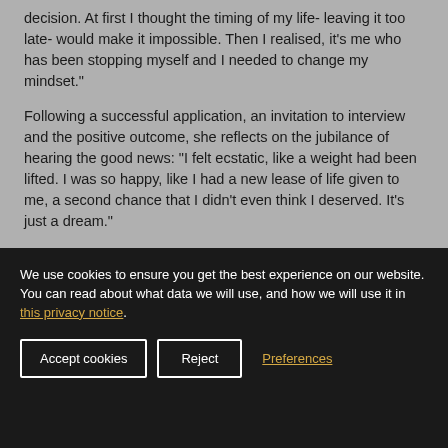decision. At first I thought the timing of my life- leaving it too late- would make it impossible. Then I realised, it's me who has been stopping myself and I needed to change my mindset.”
Following a successful application, an invitation to interview and the positive outcome, she reflects on the jubilance of hearing the good news: “I felt ecstatic, like a weight had been lifted. I was so happy, like I had a new lease of life given to me, a second chance that I didn’t even think I deserved. It’s just a dream.”
We use cookies to ensure you get the best experience on our website.
You can read about what data we will use, and how we will use it in this privacy notice.
Accept cookies
Reject
Preferences